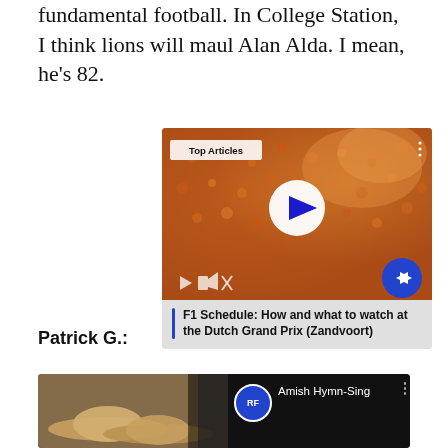fundamental football. In College Station, I think lions will maul Alan Alda. I mean, he's 82.
[Figure (screenshot): Video player card showing a crowd of people in orange/red at what appears to be a sporting event. Overlaid with 'Top Articles' badge, a centered play button, small playback controls at bottom-left, a blue arrow navigation button at bottom-right. Below the image area is a gray caption section with a blue vertical bar and bold text reading: F1 Schedule: How and what to watch at the Dutch Grand Prix (Zandvoort)]
Patrick G.:
[Figure (screenshot): YouTube-style video card with dark background. Left side shows a thumbnail of straw/wicker hats in warm brown tones. Right side shows a blue circle logo with 'RF' text, and white text reading 'Amish Hymn-Sing'. Three vertical dots menu icon at far right.]